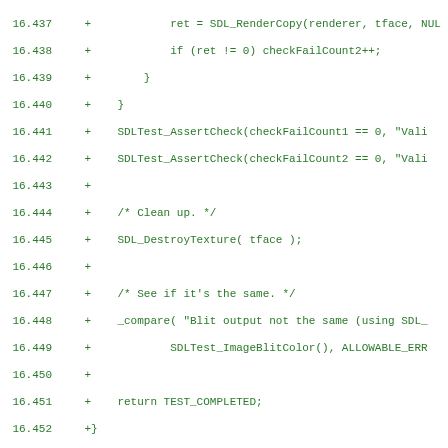[Figure (screenshot): Code diff screenshot showing lines 16.437 to 16.468 of a C source file with green monospace font on white background. Lines show SDL rendering code and a new function render_testBlitAlpha.]